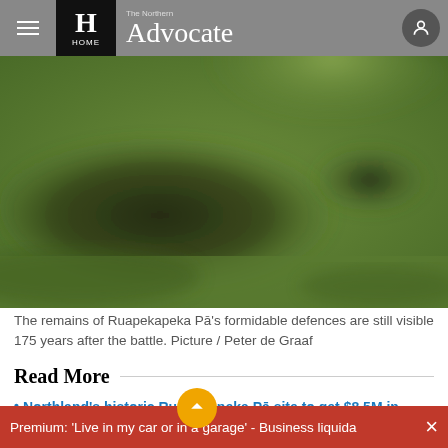The Northern Advocate - HOME
[Figure (photo): Blurred green landscape photo showing remains of Ruapekapeka Pā fortifications]
The remains of Ruapekapeka Pā's formidable defences are still visible 175 years after the battle. Picture / Peter de Graaf
Read More
Northland's historic Ruapekapeka Pā site to get $8.5M in
Premium: 'Live in my car or in a garage' - Business liquida